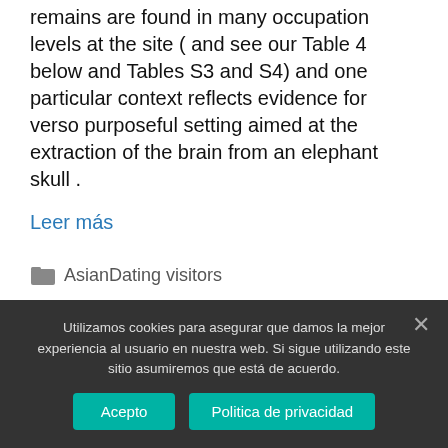remains are found in many occupation levels at the site ( and see our Table 4 below and Tables S3 and S4) and one particular context reflects evidence for verso purposeful setting aimed at the extraction of the brain from an elephant skull .
Leer más
AsianDating visitors
Deja un comentario
Utilizamos cookies para asegurar que damos la mejor experiencia al usuario en nuestra web. Si sigue utilizando este sitio asumiremos que está de acuerdo.